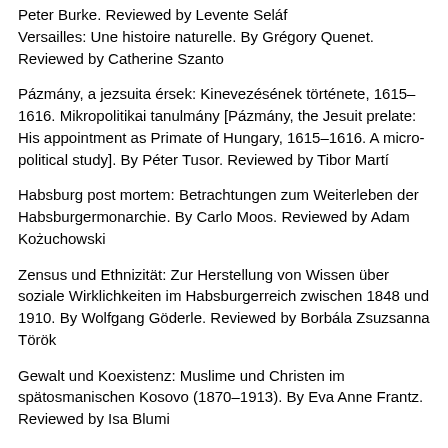Peter Burke. Reviewed by Levente Seláf
Versailles: Une histoire naturelle. By Grégory Quenet. Reviewed by Catherine Szanto
Pázmány, a jezsuita érsek: Kinevezésének története, 1615–1616. Mikropolitikai tanulmány [Pázmány, the Jesuit prelate: His appointment as Primate of Hungary, 1615–1616. A micro-political study]. By Péter Tusor. Reviewed by Tibor Martí
Habsburg post mortem: Betrachtungen zum Weiterleben der Habsburgermonarchie. By Carlo Moos. Reviewed by Adam Kożuchowski
Zensus und Ethnizität: Zur Herstellung von Wissen über soziale Wirklichkeiten im Habsburgerreich zwischen 1848 und 1910. By Wolfgang Göderle. Reviewed by Borbála Zsuzsanna Török
Gewalt und Koexistenz: Muslime und Christen im spätosmanischen Kosovo (1870–1913). By Eva Anne Frantz. Reviewed by Isa Blumi